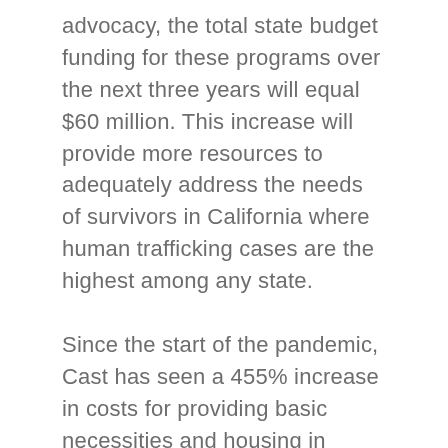advocacy, the total state budget funding for these programs over the next three years will equal $60 million. This increase will provide more resources to adequately address the needs of survivors in California where human trafficking cases are the highest among any state.
Since the start of the pandemic, Cast has seen a 455% increase in costs for providing basic necessities and housing in comparison to the same time of year in 2019. Service providers are now facing an unprecedented shortfall of resources with an outsized demand for direct services. This budget request is a direct response to the COVID-19 pandemic that exposed the